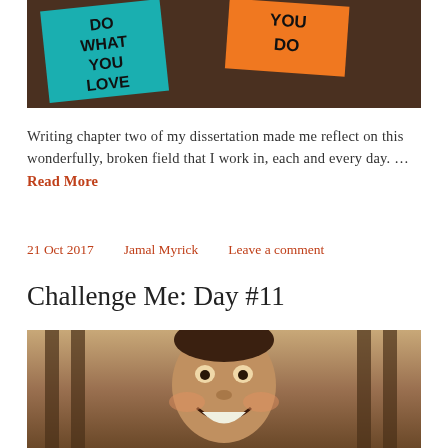[Figure (photo): Photo of two sticky notes on a dark background: a teal note reading 'DO WHAT YOU LOVE' and an orange note reading 'YOU DO']
Writing chapter two of my dissertation made me reflect on this wonderfully, broken field that I work in, each and every day. … Read More
21 Oct 2017   Jamal Myrick   Leave a comment
Challenge Me: Day #11
[Figure (photo): Sepia-toned photo of a young smiling boy laughing, with vertical slats/bars in the background]